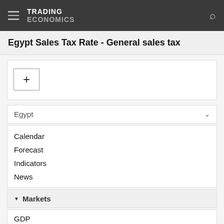TRADING ECONOMICS
Egypt Sales Tax Rate - General sales tax
[Figure (other): Widget area with a plus (+) button for adding content]
Egypt
Calendar
Forecast
Indicators
News
Markets
GDP